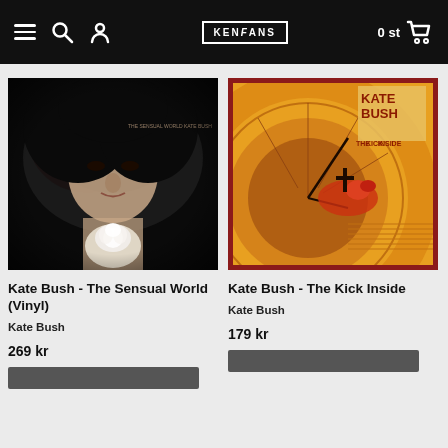Kenfans store navigation bar
[Figure (photo): Kate Bush - The Sensual World album cover, black and white photo of Kate Bush holding a white rose towards camera]
Kate Bush - The Sensual World (Vinyl)
Kate Bush
269 kr
[Figure (photo): Kate Bush - The Kick Inside album cover, yellow/orange surrealist illustration showing a large eye with a figure riding a horse, text reading KATE BUSH THE KICK INSIDE]
Kate Bush - The Kick Inside
Kate Bush
179 kr